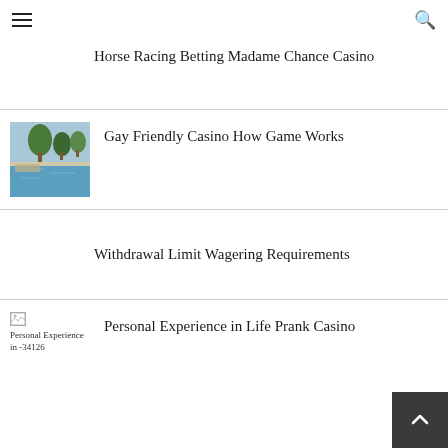Horse Racing Betting Madame Chance Casino
[Figure (photo): Outdoor pool area with palm trees and water]
Gay Friendly Casino How Game Works
Withdrawal Limit Wagering Requirements
[Figure (photo): Broken image placeholder for Personal Experience in -34126]
Personal Experience in Life Prank Casino